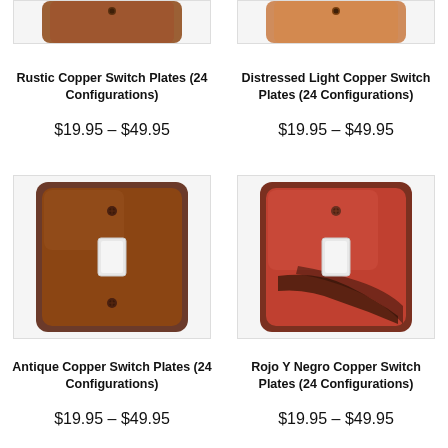[Figure (photo): Rustic Copper Switch Plate product image (partially visible at top)]
[Figure (photo): Distressed Light Copper Switch Plate product image (partially visible at top)]
Rustic Copper Switch Plates (24 Configurations)
$19.95 – $49.95
Distressed Light Copper Switch Plates (24 Configurations)
$19.95 – $49.95
[Figure (photo): Antique Copper Switch Plate - brown/dark copper single toggle switch plate]
[Figure (photo): Rojo Y Negro Copper Switch Plate - reddish-brown distressed copper single toggle switch plate]
Antique Copper Switch Plates (24 Configurations)
$19.95 – $49.95
Rojo Y Negro Copper Switch Plates (24 Configurations)
$19.95 – $49.95